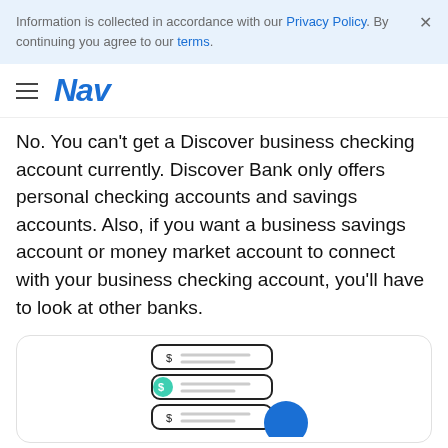Information is collected in accordance with our Privacy Policy. By continuing you agree to our terms.
Nav
No. You can’t get a Discover business checking account currently. Discover Bank only offers personal checking accounts and savings accounts. Also, if you want a business savings account or money market account to connect with your business checking account, you’ll have to look at other banks.
[Figure (illustration): Stacked card/form rows illustration with dollar signs and teal/blue circles, suggesting banking or financial accounts]